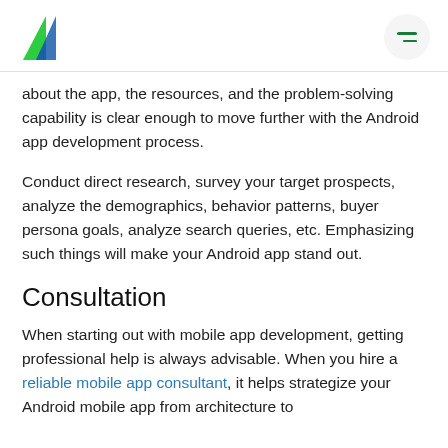[Logo: AC] [hamburger menu]
about the app, the resources, and the problem-solving capability is clear enough to move further with the Android app development process.
Conduct direct research, survey your target prospects, analyze the demographics, behavior patterns, buyer persona goals, analyze search queries, etc. Emphasizing such things will make your Android app stand out.
Consultation
When starting out with mobile app development, getting professional help is always advisable. When you hire a reliable mobile app consultant, it helps strategize your Android mobile app from architecture to